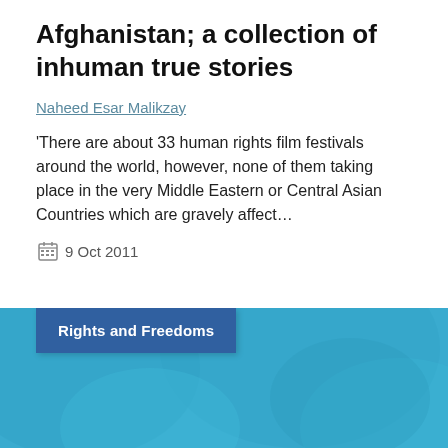Afghanistan; a collection of inhuman true stories
Naheed Esar Malikzay
'There are about 33 human rights film festivals around the world, however, none of them taking place in the very Middle Eastern or Central Asian Countries which are gravely affect…
9 Oct 2011
Rights and Freedoms
[Figure (photo): Blue textured background image filling the lower portion of the page]